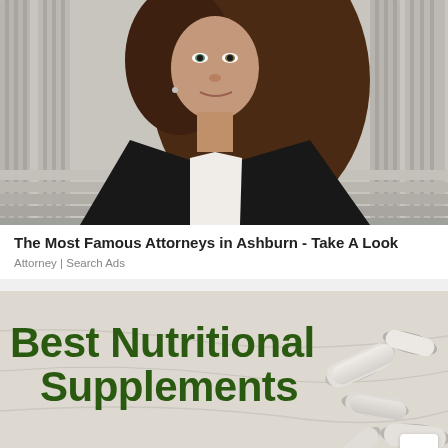[Figure (photo): Photo of a young woman with long brown hair wearing a black blazer and white top, standing in front of classical stone columns, presumably at a courthouse or government building.]
The Most Famous Attorneys in Ashburn - Take A Look
Attorney | Search Ads
[Figure (photo): Advertisement image with a background of nutritional supplement pills/capsules on a marble surface, with bold dark green text reading 'Best Nutritional Supplements']